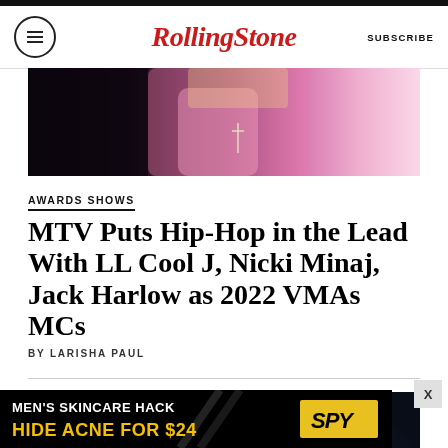Rolling Stone | SUBSCRIBE
[Figure (photo): Close-up photo of a performer in a pink outfit with blonde hair and a cross necklace, dark background]
AWARDS SHOWS
MTV Puts Hip-Hop in the Lead With LL Cool J, Nicki Minaj, Jack Harlow as 2022 VMAs MCs
BY LARISHA PAUL
[Figure (photo): Dark stage photo of a performer holding a golden trophy/award, reaching hand visible at right, dark blue background]
[Figure (photo): Advertisement banner: MEN'S SKINCARE HACK HIDE ACNE FOR $24, SPY logo]